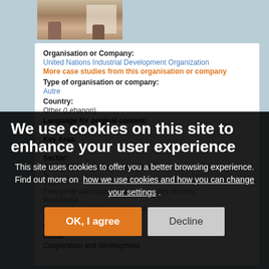[Figure (photo): Photo of hands holding a document or paper]
Organisation or Company:
United Nations Industrial Development Organization
More case studies from this organisation or company
Type of organisation or company:
Autre
Country:
Other (Lebanon)
Language for original content:
Key Area:
Sector:
Agriculture sylviculture et fertilisants
Scope:
Global
Cooperation and development
We use cookies on this site to enhance your user experience
This site uses cookies to offer you a better browsing experience. Find out more on how we use cookies and how you can change your settings .
OK, I agree
Decline